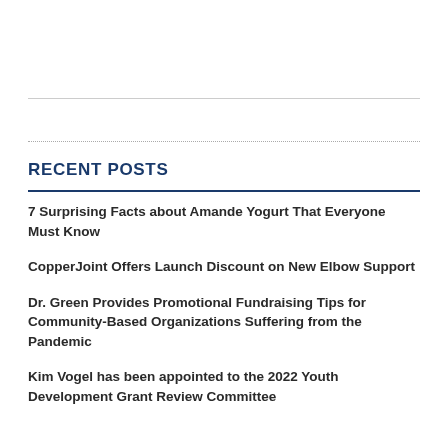RECENT POSTS
7 Surprising Facts about Amande Yogurt That Everyone Must Know
CopperJoint Offers Launch Discount on New Elbow Support
Dr. Green Provides Promotional Fundraising Tips for Community-Based Organizations Suffering from the Pandemic
Kim Vogel has been appointed to the 2022 Youth Development Grant Review Committee